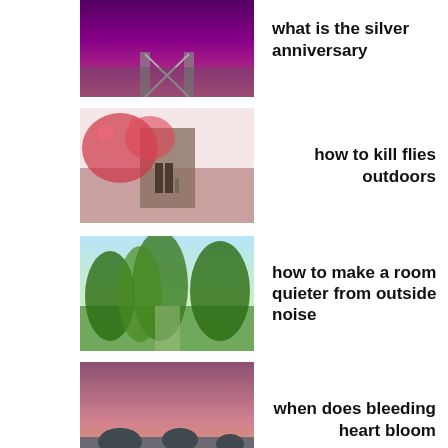[Figure (photo): Railroad tracks with colorful sky]
what is the silver anniversary
[Figure (photo): Cherry blossom scene with building]
how to kill flies outdoors
[Figure (photo): Green forest path with sunlight]
how to make a room quieter from outside noise
[Figure (photo): Rocky coastline at sunset with pink sky]
when does bleeding heart bloom
[Figure (photo): Outdoor seating area with green plants]
how to care for lavender plants
[Figure (photo): Pier at sunset reflecting on water]
how to paint a rug and keep it soft
[Figure (photo): City skyline reflected in water]
how to keep wasps from hummingbird feeders